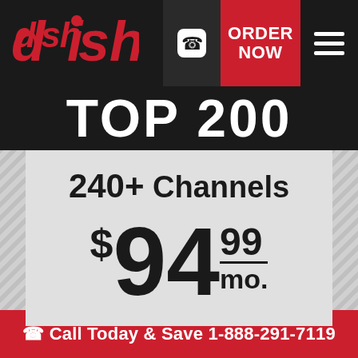[Figure (logo): DISH Network logo in red italic bold text with circular dots above i]
ORDER NOW
TOP 200
240+ Channels
$94.99/mo.
Call Today & Save 1-888-291-7119